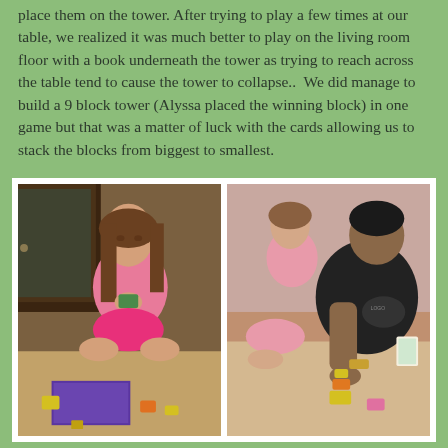place them on the tower. After trying to play a few times at our table, we realized it was much better to play on the living room floor with a book underneath the tower as trying to reach across the table tend to cause the tower to collapse..  We did manage to build a 9 block tower (Alyssa placed the winning block) in one game but that was a matter of luck with the cards allowing us to stack the blocks from biggest to smallest.
[Figure (photo): A young girl in a pink outfit sitting on the floor looking at game cards, with a purple game box and colorful blocks in front of her.]
[Figure (photo): A man in a black t-shirt leaning forward to place a block on a tower while a young girl in pink watches, sitting on the floor.]